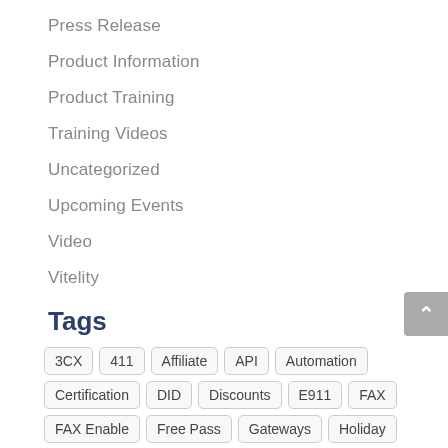Press Release
Product Information
Product Training
Training Videos
Uncategorized
Upcoming Events
Video
Vitelity
Tags
3CX
411
Affiliate
API
Automation
Certification
DID
Discounts
E911
FAX
FAX Enable
Free Pass
Gateways
Holiday
Interoperability
ITEXPO
Legacy
LIDB
LPN
Matrix Telecom
MyScribbit
News
Outbound CNAM
Portal
Promotion